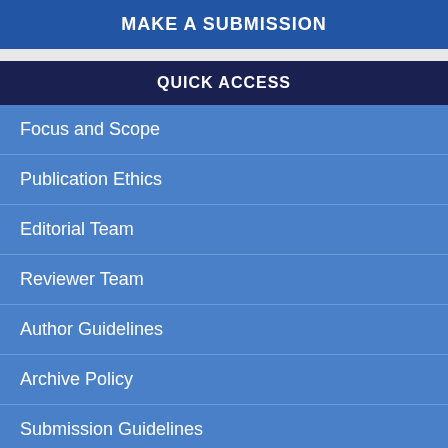MAKE A SUBMISSION
QUICK ACCESS
Focus and Scope
Publication Ethics
Editorial Team
Reviewer Team
Author Guidelines
Archive Policy
Submission Guidelines
Indexing